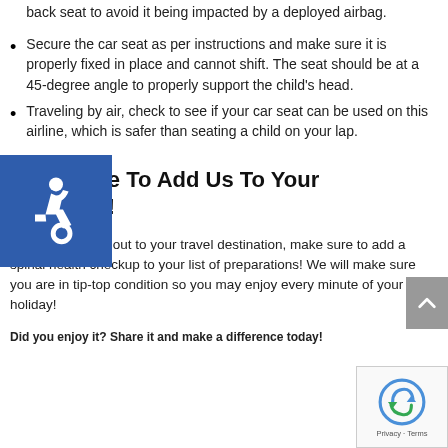back seat to avoid it being impacted by a deployed airbag.
Secure the car seat as per instructions and make sure it is properly fixed in place and cannot shift. The seat should be at a 45-degree angle to properly support the child's head.
Traveling by air, check to see if your car seat can be used on this airline, which is safer than seating a child on your lap.
Make Sure To Add Us To Your Checklist!
Before you head out to your travel destination, make sure to add a spinal health checkup to your list of preparations! We will make sure you are in tip-top condition so you may enjoy every minute of your holiday!
Did you enjoy it? Share it and make a difference today!